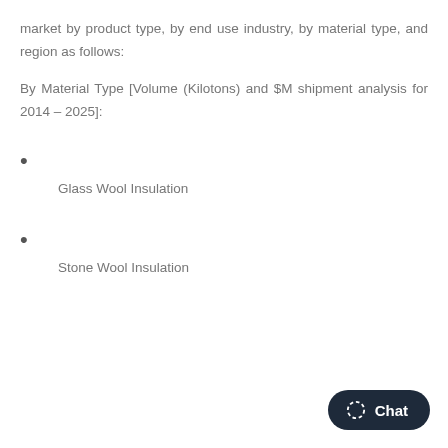market by product type, by end use industry, by material type, and region as follows:
By Material Type [Volume (Kilotons) and $M shipment analysis for 2014 – 2025]:
Glass Wool Insulation
Stone Wool Insulation